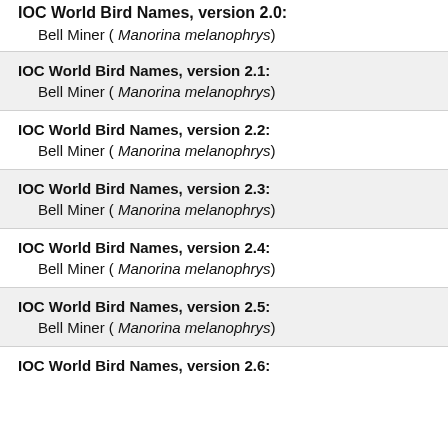IOC World Bird Names, version 2.0:
Bell Miner ( Manorina melanophrys)
IOC World Bird Names, version 2.1:
Bell Miner ( Manorina melanophrys)
IOC World Bird Names, version 2.2:
Bell Miner ( Manorina melanophrys)
IOC World Bird Names, version 2.3:
Bell Miner ( Manorina melanophrys)
IOC World Bird Names, version 2.4:
Bell Miner ( Manorina melanophrys)
IOC World Bird Names, version 2.5:
Bell Miner ( Manorina melanophrys)
IOC World Bird Names, version 2.6: